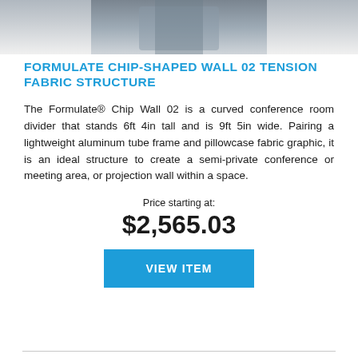[Figure (photo): Partial cropped photo of the Formulate Chip-Shaped Wall 02 tension fabric structure product, showing the top portion of the display]
FORMULATE CHIP-SHAPED WALL 02 TENSION FABRIC STRUCTURE
The Formulate® Chip Wall 02 is a curved conference room divider that stands 6ft 4in tall and is 9ft 5in wide. Pairing a lightweight aluminum tube frame and pillowcase fabric graphic, it is an ideal structure to create a semi-private conference or meeting area, or projection wall within a space.
Price starting at:
$2,565.03
VIEW ITEM